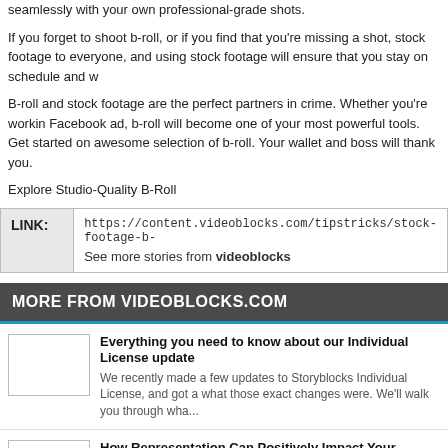seamlessly with your own professional-grade shots.
If you forget to shoot b-roll, or if you find that you're missing a shot, stock footage to everyone, and using stock footage will ensure that you stay on schedule and w
B-roll and stock footage are the perfect partners in crime. Whether you're working Facebook ad, b-roll will become one of your most powerful tools. Get started on awesome selection of b-roll. Your wallet and boss will thank you.
Explore Studio-Quality B-Roll
| LINK: |  |
| --- | --- |
|  | https://content.videoblocks.com/tipstricks/stock-footage-b-
See more stories from videoblocks |
MORE FROM VIDEOBLOCKS.COM
Everything you need to know about our Individual License update
We recently made a few updates to Storyblocks Individual License, and got a what those exact changes were. We'll walk you through wha...
How Representation Can Positively Impact Your Business (and th
If you're on social media, watch the news, or haven't been under a rock for th no stranger to the calls for equality and repr...
The 2020 BANFF Film & Book Festival
It takes time, effort, and an unending passion to be an artist in the world toda it takes being a highly skilled storyteller. Some of the...